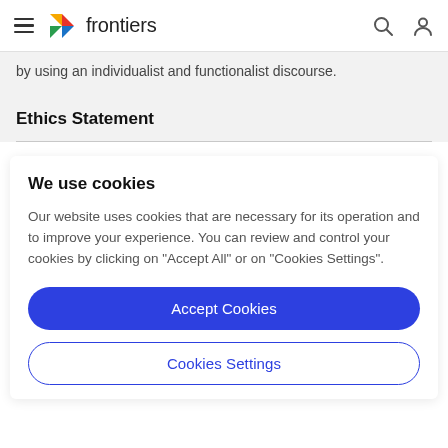frontiers
by using an individualist and functionalist discourse.
Ethics Statement
We use cookies
Our website uses cookies that are necessary for its operation and to improve your experience. You can review and control your cookies by clicking on "Accept All" or on "Cookies Settings".
Accept Cookies
Cookies Settings